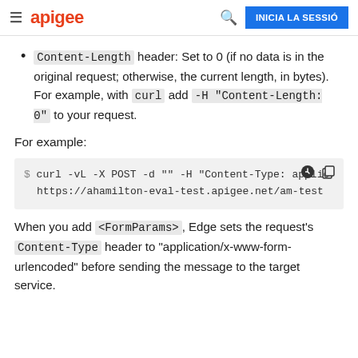apigee | INICIA LA SESSIÓ
Content-Length header: Set to 0 (if no data is in the original request; otherwise, the current length, in bytes). For example, with curl add -H "Content-Length: 0" to your request.
For example:
$ curl -vL -X POST -d "" -H "Content-Type: applic
    https://ahamilton-eval-test.apigee.net/am-test
When you add <FormParams>, Edge sets the request's Content-Type header to "application/x-www-form-urlencoded" before sending the message to the target service.